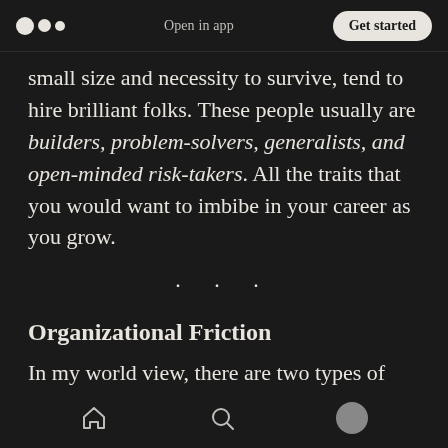Open in app | Get started
small size and necessity to survive, tend to hire brilliant folks. These people usually are builders, problem-solvers, generalists, and open-minded risk-takers. All the traits that you would want to imbibe in your career as you grow.
· · ·
Organizational Friction
In my world view, there are two types of people: those who hate bureaucracy and those who say they like bureaucracy. Every large organization
home | search | profile